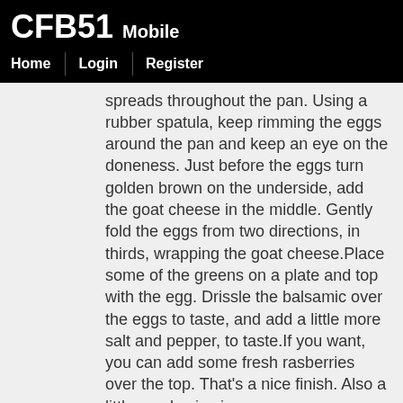CFB51 Mobile
Home | Login | Register
spreads throughout the pan. Using a rubber spatula, keep rimming the eggs around the pan and keep an eye on the doneness. Just before the eggs turn golden brown on the underside, add the goat cheese in the middle. Gently fold the eggs from two directions, in thirds, wrapping the goat cheese.Place some of the greens on a plate and top with the egg. Drissle the balsamic over the eggs to taste, and add a little more salt and pepper, to taste.If you want, you can add some fresh rasberries over the top. That's a nice finish. Also a little parsley is nice.
a chili recipe from Pittsburgh........... I advise leaving out the beans GRETCHEN MCKAY Pittsburgh Post-Gazette(0) Comments  It's not necessarily cold enough to turn on the heat, but